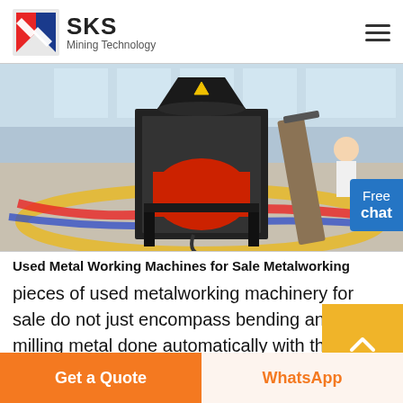SKS Mining Technology
[Figure (photo): Industrial mining/crushing machine with red and black components on a gravel surface inside a factory with large windows]
Used Metal Working Machines for Sale Metalworking
pieces of used metalworking machinery for sale do not just encompass bending and milling metal done automatically with the pro...